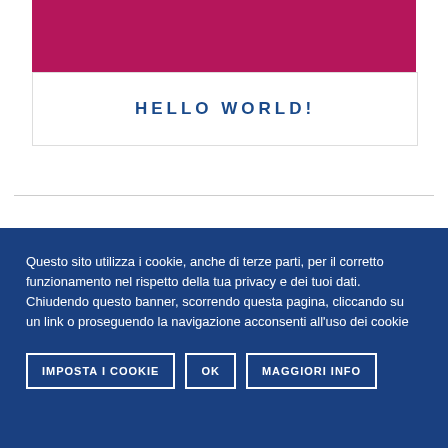[Figure (other): Magenta/crimson colored banner block at the top of the page]
HELLO WORLD!
Questo sito utilizza i cookie, anche di terze parti, per il corretto funzionamento nel rispetto della tua privacy e dei tuoi dati. Chiudendo questo banner, scorrendo questa pagina, cliccando su un link o proseguendo la navigazione acconsenti all'uso dei cookie
IMPOSTA I COOKIE | OK | MAGGIORI INFO